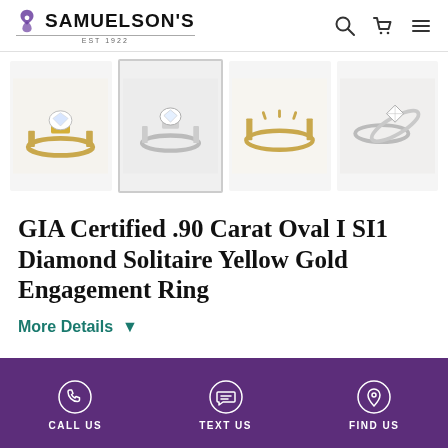SAMUELSON'S
[Figure (photo): Four thumbnail photos of a diamond solitaire engagement ring from different angles: yellow gold with oval diamond, silver/white gold front view, side profile, and top view]
GIA Certified .90 Carat Oval I SI1 Diamond Solitaire Yellow Gold Engagement Ring
More Details ▼
CALL US   TEXT US   FIND US